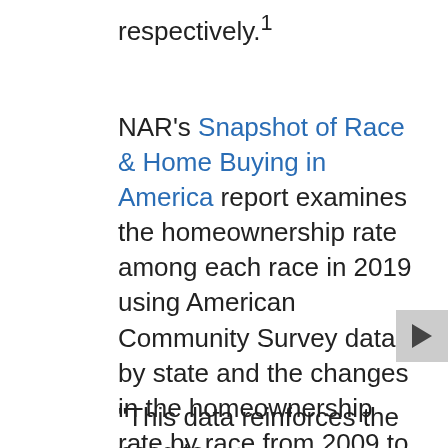respectively.¹
NAR's Snapshot of Race & Home Buying in America report examines the homeownership rate among each race in 2019 using American Community Survey data by state and the changes in the homeownership rate by race from 2009 to 2019. Using the Profile of Home Buyers and Sellers data from 2020, the report looks into the characteristics of who purchases homes, why they purchase, what they purchase, and the financial background for buyers based on race.
"This data reinforces the need to